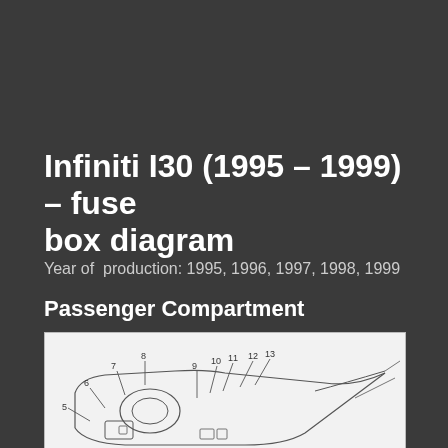Infiniti I30 (1995 – 1999) – fuse box diagram
Year of  production: 1995, 1996, 1997, 1998, 1999
Passenger Compartment
[Figure (schematic): Passenger compartment fuse box diagram for Infiniti I30 (1995-1999) showing numbered fuse locations 5 through 13 on a line drawing of the dashboard/fuse panel area.]